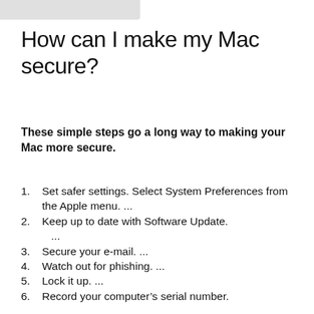[Figure (other): Gray rectangular banner at top of page]
How can I make my Mac secure?
These simple steps go a long way to making your Mac more secure.
Set safer settings. Select System Preferences from the Apple menu. ...
Keep up to date with Software Update. ...
Secure your e-mail. ...
Watch out for phishing. ...
Lock it up. ...
Record your computer’s serial number.